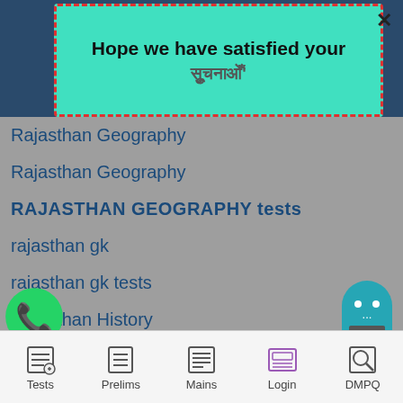[Figure (screenshot): Mobile app screenshot showing a teal dialog box with dashed red border over a dark blue header. Dialog reads: Hope we have satisfied your (partial text, cut off). X close button in top right.]
Rajasthan Geography
Rajasthan Geography
RAJASTHAN GEOGRAPHY tests
rajasthan gk
rajasthan gk tests
Rajasthan History
Rajasthan History
Rajasthan history & culture
Rajasthan polity
Rajasthan polity
jasthan Polity
Tests   Prelims   Mains   Login   DMPQ